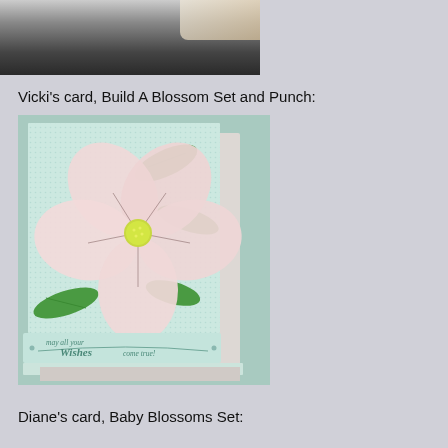[Figure (photo): Partial top photo, cropped, showing dark background with hand/fingers visible]
Vicki's card, Build A Blossom Set and Punch:
[Figure (photo): Handmade greeting card featuring a large pink blossom flower with 5 petals and a yellow glittery center button, green leaves, on a mint/aqua textured embossed panel, mounted on a white card base with a light green sentiment banner reading 'may all your Wishes come true!']
Diane's card, Baby Blossoms Set: